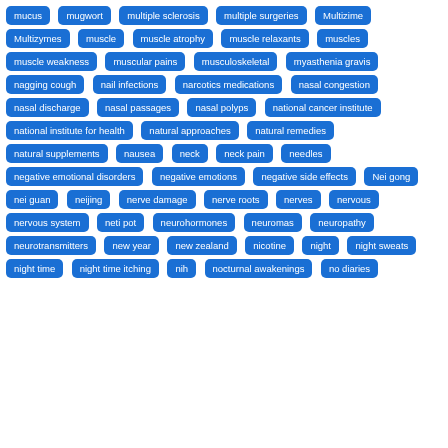[Figure (other): Tag cloud of medical terms displayed as blue rounded rectangle badges on white background. Terms include: mucus, mugwort, multiple sclerosis, multiple surgeries, Multizime, Multizymes, muscle, muscle atrophy, muscle relaxants, muscles, muscle weakness, muscular pains, musculoskeletal, myasthenia gravis, nagging cough, nail infections, narcotics medications, nasal congestion, nasal discharge, nasal passages, nasal polyps, national cancer institute, national institute for health, natural approaches, natural remedies, natural supplements, nausea, neck, neck pain, needles, negative emotional disorders, negative emotions, negative side effects, Nei gong, nei guan, neijing, nerve damage, nerve roots, nerves, nervous, nervous system, neti pot, neurohormones, neuromas, neuropathy, neurotransmitters, new year, new zealand, nicotine, night, night sweats, night time, night time itching, nih, nocturnal awakenings, no diaries]